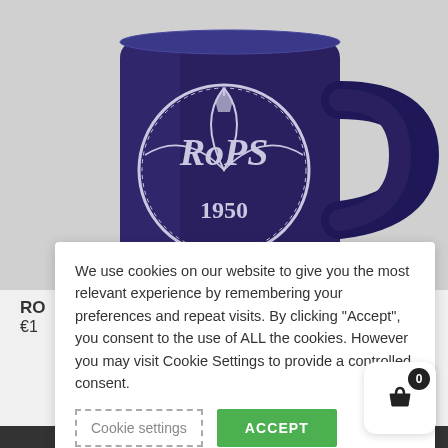[Figure (photo): Close-up of a dark blue ceramic mug with a circular logo showing 'RoPS 1950' with a football/soccer ball design]
RoPS
€1
We use cookies on our website to give you the most relevant experience by remembering your preferences and repeat visits. By clicking “Accept”, you consent to the use of ALL the cookies. However you may visit Cookie Settings to provide a controlled consent.
Cookie settings
ACCEPT